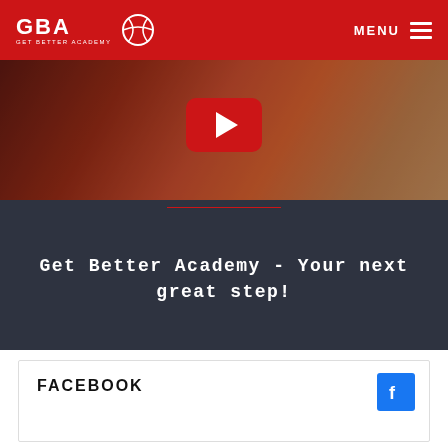GBA GET BETTER ACADEMY | MENU
[Figure (screenshot): Video thumbnail showing a smiling person with a YouTube play button overlay, date badge '7. 5. 2020', and dark card with article title]
Get Better Academy - Your next great step!
FACEBOOK